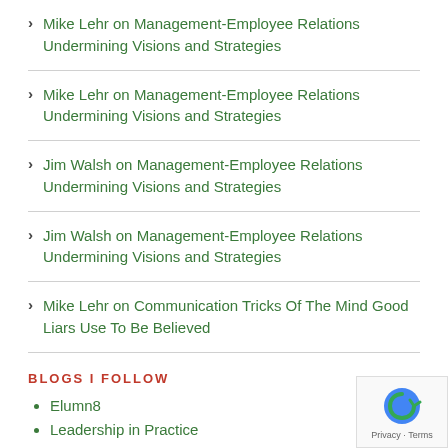Mike Lehr on Management-Employee Relations Undermining Visions and Strategies
Mike Lehr on Management-Employee Relations Undermining Visions and Strategies
Jim Walsh on Management-Employee Relations Undermining Visions and Strategies
Jim Walsh on Management-Employee Relations Undermining Visions and Strategies
Mike Lehr on Communication Tricks Of The Mind Good Liars Use To Be Believed
BLOGS I FOLLOW
Elumn8
Leadership in Practice